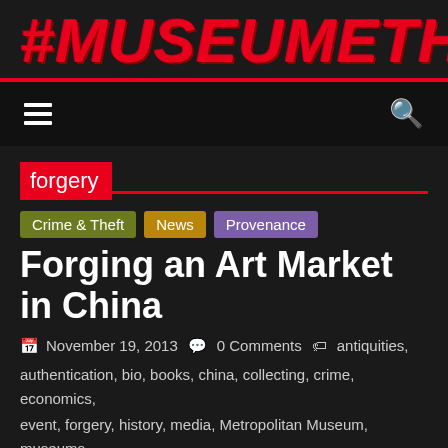#MUSEUMETHICS
forgery
Crime & Theft
News
Provenance
Forging an Art Market in China
November 19, 2013  0 Comments  antiquities,
authentication, bio, books, china, collecting, crime, economics,
event, forgery, history, media, Metropolitan Museum, museums,